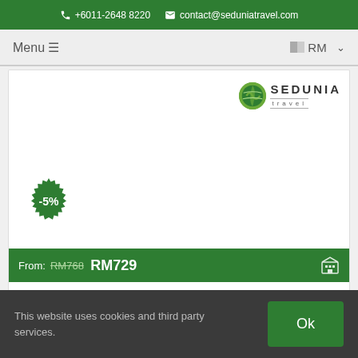+6011-2648 8220  contact@seduniatravel.com
Menu ≡
🏳️RM ∨
[Figure (logo): Sedunia Travel logo with green globe icon, text SEDUNIA travel]
[Figure (infographic): Circular green serrated discount badge showing -5%]
From: RM768 RM729
3D2N Bali Tour
This website uses cookies and third party services.